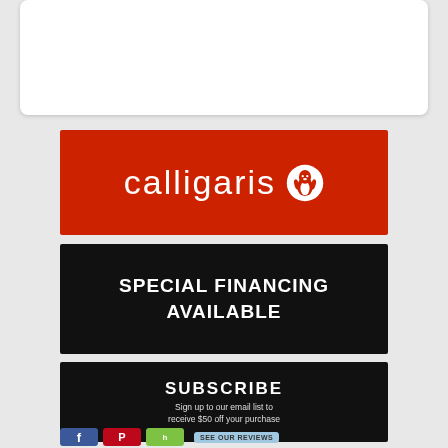[Figure (logo): Calligaris brand logo — white text 'calligaris' with penguin icon on red background]
SPECIAL FINANCING AVAILABLE
SUBSCRIBE
Sign up to our email list to receive $50 off your purchase
[Figure (infographic): Bottom row of social media icons: Facebook, Pinterest, Houzz, and a 'SEE OUR REVIEWS' button]